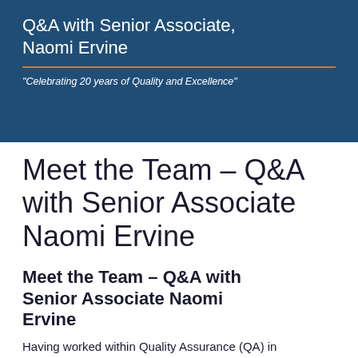[Figure (photo): Blue banner with photo background showing people, containing the title 'Q&A with Senior Associate, Naomi Ervine', a horizontal orange/brown rule, and the italic tagline '"Celebrating 20 years of Quality and Excellence"']
Meet the Team – Q&A with Senior Associate Naomi Ervine
Meet the Team – Q&A with Senior Associate Naomi Ervine
Having worked within Quality Assurance (QA) in